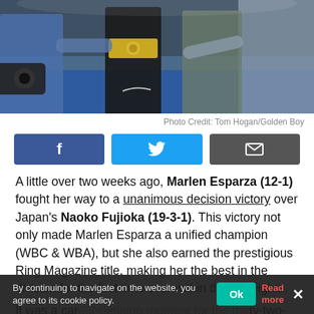[Figure (photo): Boxing event photo showing fighters and officials with championship belt, crowd and cameras visible in background]
Photo Credit: Tom Hogan/Golden Boy
[Figure (infographic): Social share buttons: Facebook (blue), Twitter (light blue), Email (gray)]
A little over two weeks ago, Marlen Esparza (12-1) fought her way to a unanimous decision victory over Japan's Naoko Fujioka (19-3-1). This victory not only made Marlen Esparza a unified champion (WBC & WBA), but she also earned the prestigious Ring Magazine title, making her the best in the division for the first time ever within the flyweights.
It was a career-defining moment for the thirty-two-year-old from Houston, TX, and there to congratulate her.
By continuing to navigate on the website, you agree to its cookie policy.